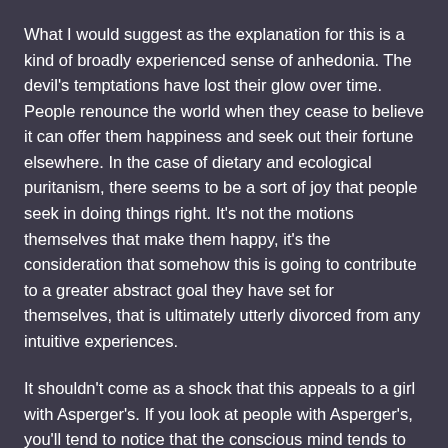What I would suggest as the explanation for this is a kind of broadly experienced sense of anhedonia. The devil's temptations have lost their glow over time. People renounce the world when they cease to believe it can offer them happiness and seek out their fortune elsewhere. In the case of dietary and ecological puritanism, there seems to be a sort of joy that people seek in doing things right. It's not the motions themselves that make them happy, it's the consideration that somehow this is going to contribute to a greater abstract goal they have set for themselves, that is ultimately utterly divorced from any intuitive experiences.
It shouldn't come as a shock that this appeals to a girl with Asperger's. If you look at people with Asperger's, you'll tend to notice that the conscious mind tends to end up fulfilling roles that would generally be under the domain of the subconscious. People with Asperger's often have to spend years teaching themselves how to interact with others in a manner that doesn't alienate them. If you have Asperger's and meet someone you get along with, you want to discuss whatever